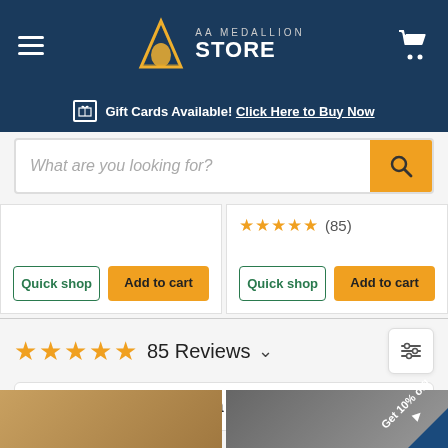[Figure (screenshot): AA Medallion Store website header with hamburger menu, logo, and cart icon on dark navy background]
[Figure (screenshot): Search bar with placeholder 'What are you looking for?' and orange search button]
Gift Cards Available! Click Here to Buy Now
[Figure (screenshot): Product cards with star ratings (85 reviews), Quick shop and Add to cart buttons]
85 Reviews
Write a review
[Figure (photo): Two thumbnail images at the bottom of the page]
Get 10% off!